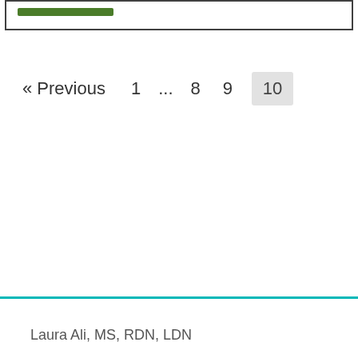[Figure (other): Partial view of a bordered box with a green bar/button inside at the top]
« Previous   1   ...   8   9   10
Laura Ali, MS, RDN, LDN